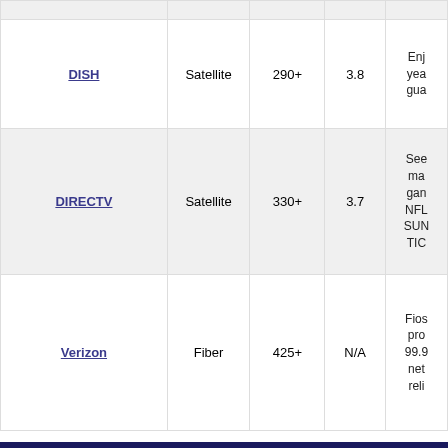| Provider | Type | Channels | Rating | Details |
| --- | --- | --- | --- | --- |
| DISH | Satellite | 290+ | 3.8 | Enj... year... gua... |
| DIRECTV | Satellite | 330+ | 3.7 | See... man... gam... NFL... SUN... TIC... |
| Verizon | Fiber | 425+ | N/A | Fios... pro... 99.9... net... reli... |
*Pricing subject to change. Not all offers available in all areas.
Internet Providers in Atco, NJ
SWIPE LEFT TO SEE ALL →